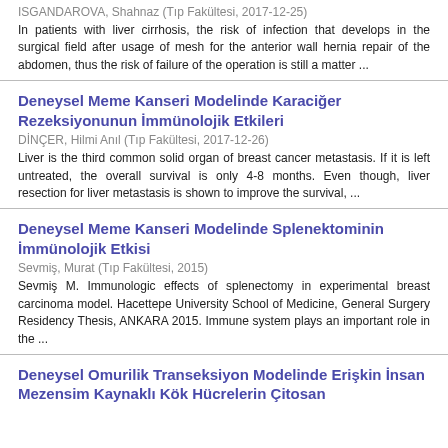ISGANDAROVA, Shahnaz (Tıp Fakültesi, 2017-12-25)
In patients with liver cirrhosis, the risk of infection that develops in the surgical field after usage of mesh for the anterior wall hernia repair of the abdomen, thus the risk of failure of the operation is still a matter ...
Deneysel Meme Kanseri Modelinde Karaciğer Rezeksiyonunun İmmünolojik Etkileri
DİNÇER, Hilmi Anıl (Tıp Fakültesi, 2017-12-26)
Liver is the third common solid organ of breast cancer metastasis. If it is left untreated, the overall survival is only 4-8 months. Even though, liver resection for liver metastasis is shown to improve the survival, ...
Deneysel Meme Kanseri Modelinde Splenektominin İmmünolojik Etkisi
Sevmiş, Murat (Tıp Fakültesi, 2015)
Sevmiş M. Immunologic effects of splenectomy in experimental breast carcinoma model. Hacettepe University School of Medicine, General Surgery Residency Thesis, ANKARA 2015. Immune system plays an important role in the ...
Deneysel Omurilik Transeksiyon Modelinde Erişkin İnsan Mezensim Kaynaklı Kök Hücrelerin Çitosan